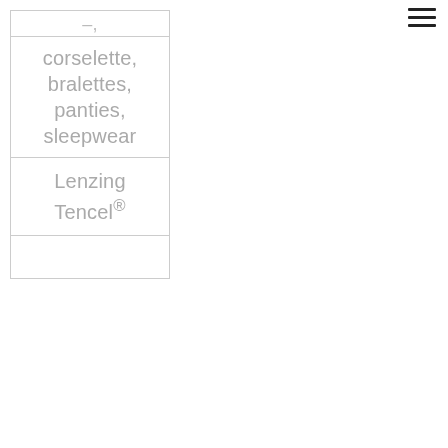[Figure (other): Hamburger menu icon (three horizontal lines) in top-right corner]
| corselette, bralettes, panties, sleepwear |
| Lenzing Tencel® |
| (partial) |